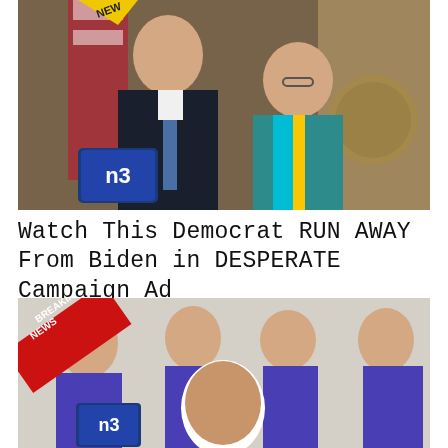[Figure (photo): Two people posing together in front of American flags and a Presidential seal. Person on left in dark suit with blue tie, person on right in teal jacket with blue and yellow scarf. NewsBusters (NB) logo in lower left corner.]
Watch This Democrat RUN AWAY From Biden in DESPERATE Campaign Ad
[Figure (photo): Composite image showing multiple instances of a woman in a purple blazer (Elizabeth Warren), with a man's face (Ted Cruz) inserted in the center foreground. A red 'BREAKING NEWS' banner is in the upper left. NewsBusters (NB) logo in lower left corner.]